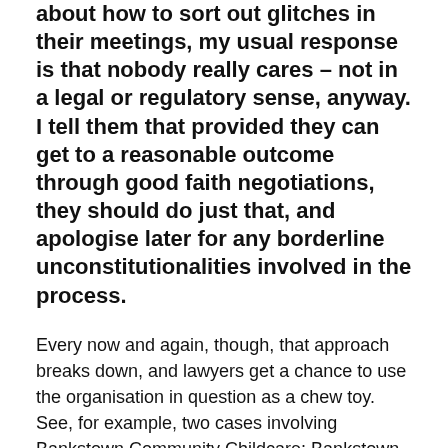about how to sort out glitches in their meetings, my usual response is that nobody really cares – not in a legal or regulatory sense, anyway. I tell them that provided they can get to a reasonable outcome through good faith negotiations, they should do just that, and apologise later for any borderline unconstitutionalities involved in the process.
Every now and again, though, that approach breaks down, and lawyers get a chance to use the organisation in question as a chew toy. See, for example, two cases involving Bankstown Community Childcare: Bankstown Community Childcare Inc [2006] NSWSC 612, and Bankstown Community Child Care Inc [2008] NSWSC 173.
This not-for-profit childcare centre found it was having trouble hiring suitably qualified staff and couldn't